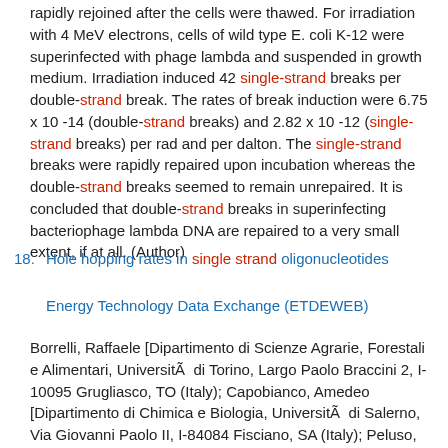rapidly rejoined after the cells were thawed. For irradiation with 4 MeV electrons, cells of wild type E. coli K-12 were superinfected with phage lambda and suspended in growth medium. Irradiation induced 42 single-strand breaks per double-strand break. The rates of break induction were 6.75 x 10 -14 (double-strand breaks) and 2.82 x 10 -12 (single-strand breaks) per rad and per dalton. The single-strand breaks were rapidly repaired upon incubation whereas the double-strand breaks seemed to remain unrepaired. It is concluded that double-strand breaks in superinfecting bacteriophage lambda DNA are repaired to a very small extent, if at all. (Author)
18. Hole hopping rates in single strand oligonucleotides
Energy Technology Data Exchange (ETDEWEB)
Borrelli, Raffaele [Dipartimento di Scienze Agrarie, Forestali e Alimentari, Università di Torino, Largo Paolo Braccini 2, I-10095 Grugliasco, TO (Italy); Capobianco, Amedeo [Dipartimento di Chimica e Biologia, Università di Salerno, Via Giovanni Paolo II, I-84084 Fisciano, SA (Italy); Peluso, Andrea, E-mail: apeluso@unisa.it [Dipartimento di Chimica e Biologia, Università di Salerno, Via Giovanni Paolo II, I-84084 Fisciano,